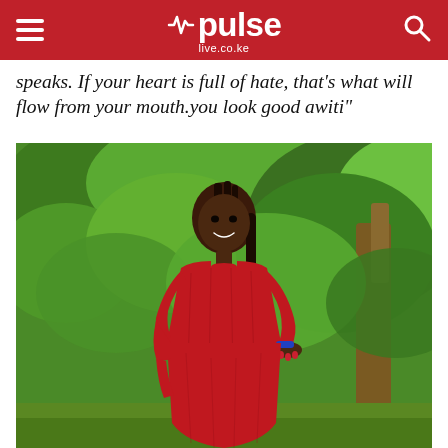pulse live.co.ke
speaks. If your heart is full of hate, that's what will flow from your mouth.you look good awiti"
[Figure (photo): A young woman wearing a red long-sleeve fitted dress, smiling, posing with one hand on her hip in front of green trees and foliage outdoors.]